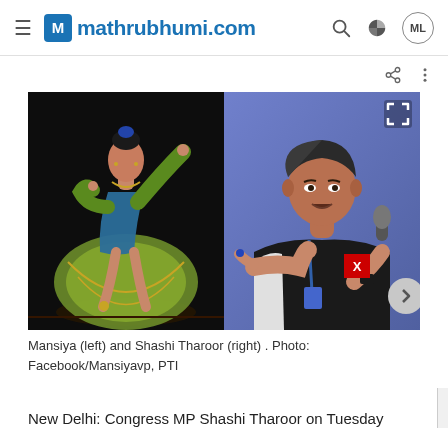mathrubhumi.com
[Figure (photo): Two side-by-side photos: left shows Mansiya, a classical dancer in green and blue costume performing Bharatanatyam on a dark stage; right shows Shashi Tharoor speaking into a microphone with a blue/purple background. An expand icon appears top-right, a red X button and a next-arrow button appear on the right image.]
Mansiya (left) and Shashi Tharoor (right) . Photo: Facebook/Mansiyavp, PTI
New Delhi: Congress MP Shashi Tharoor on Tuesday